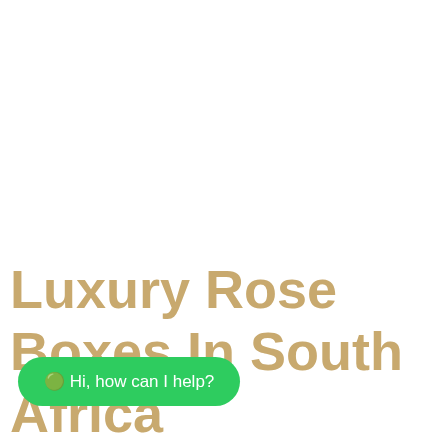Luxury Rose Boxes In South Africa
🟢 Hi, how can I help?